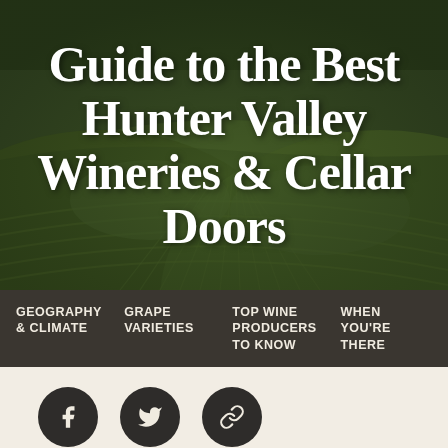[Figure (photo): Aerial view of Hunter Valley vineyard rows on rolling hills, dark green foliage, earthy tones]
Guide to the Best Hunter Valley Wineries & Cellar Doors
GEOGRAPHY & CLIMATE | GRAPE VARIETIES | TOP WINE PRODUCERS TO KNOW | WHEN YOU'RE THERE
[Figure (infographic): Three social media icon circles: Facebook, Twitter, and a link/chain icon]